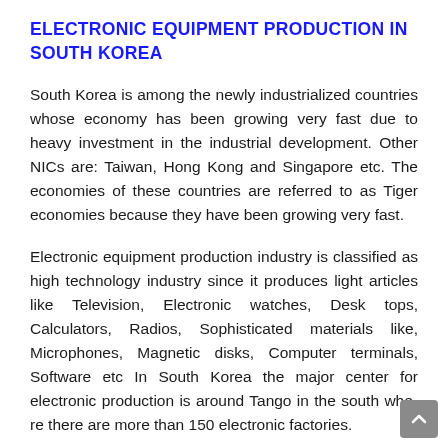ELECTRONIC EQUIPMENT PRODUCTION IN SOUTH KOREA
South Korea is among the newly industrialized countries whose economy has been growing very fast due to heavy investment in the industrial development. Other NICs are: Taiwan, Hong Kong and Singapore etc. The economies of these countries are referred to as Tiger economies because they have been growing very fast.
Electronic equipment production industry is classified as high technology industry since it produces light articles like Television, Electronic watches, Desk tops, Calculators, Radios, Sophisticated materials like, Microphones, Magnetic disks, Computer terminals, Software etc In South Korea the major center for electronic production is around Tango in the south where there are more than 150 electronic factories.